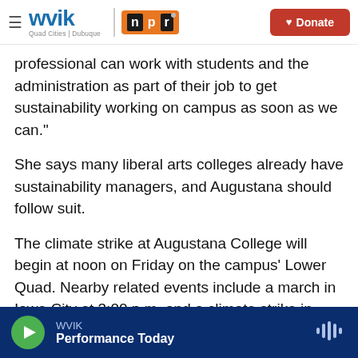WVIK | NPR | Quad Cities | Dubuque | Donate
professional can work with students and the administration as part of their job to get sustainability working on campus as soon as we can."
She says many liberal arts colleges already have sustainability managers, and Augustana should follow suit.
The climate strike at Augustana College will begin at noon on Friday on the campus' Lower Quad. Nearby related events include a march in Iowa City at 3:00 p.m. and a climate strike in Bettendorf next Friday.
WVIK | Performance Today